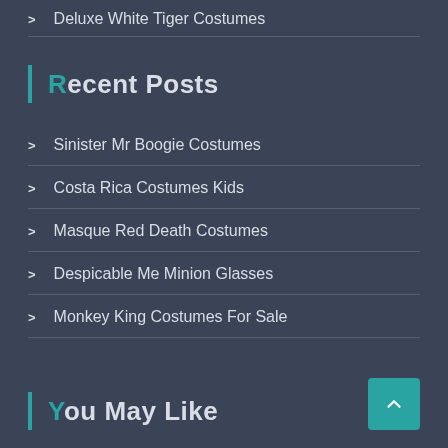Deluxe White Tiger Costumes
Recent Posts
Sinister Mr Boogie Costumes
Costa Rica Costumes Kids
Masque Red Death Costumes
Despicable Me Minion Glasses
Monkey King Costumes For Sale
You May Like